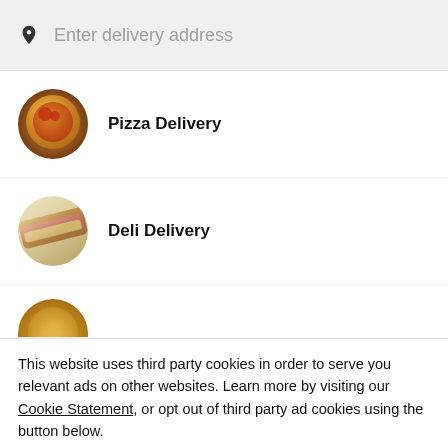Enter delivery address
Pizza Delivery
Deli Delivery
[Figure (illustration): Partial food delivery category icon, partially visible at bottom of list]
This website uses third party cookies in order to serve you relevant ads on other websites. Learn more by visiting our Cookie Statement, or opt out of third party ad cookies using the button below.
Opt out
Got it